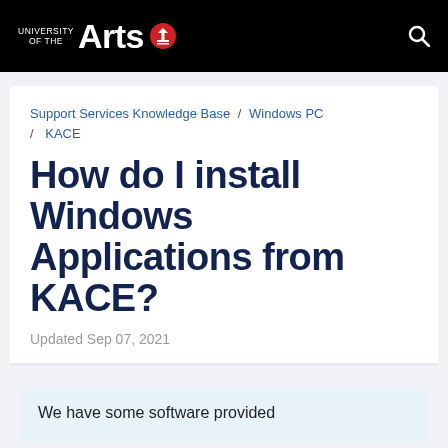University of the Arts
Support Services Knowledge Base / Windows PC / KACE
How do I install Windows Applications from KACE?
Updated Sep 07, 2021
We have some software provided